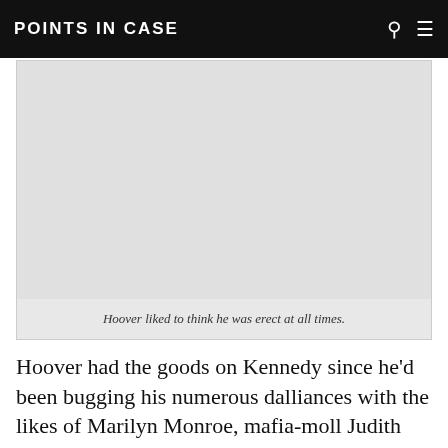POINTS IN CASE
[Figure (photo): A light gray placeholder image box with a caption below reading: Hoover liked to think he was erect at all times.]
Hoover liked to think he was erect at all times.
Hoover had the goods on Kennedy since he'd been bugging his numerous dalliances with the likes of Marilyn Monroe, mafia-moll Judith Campbell Exner,